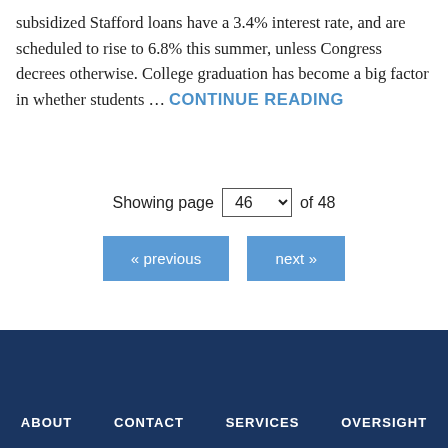subsidized Stafford loans have a 3.4% interest rate, and are scheduled to rise to 6.8% this summer, unless Congress decrees otherwise. College graduation has become a big factor in whether students … CONTINUE READING
Showing page 46 of 48
« previous   next »
ABOUT   CONTACT   SERVICES   OVERSIGHT